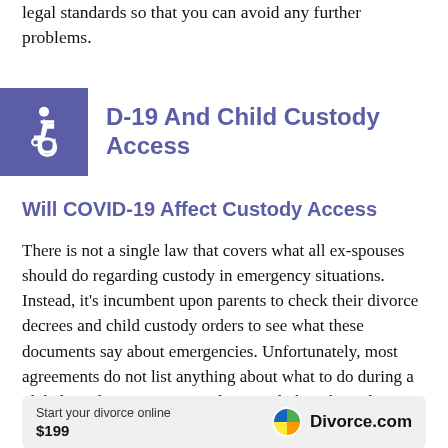legal standards so that you can avoid any further problems.
D-19 And Child Custody Access
Will COVID-19 Affect Custody Access
There is not a single law that covers what all ex-spouses should do regarding custody in emergency situations. Instead, it's incumbent upon parents to check their divorce decrees and child custody orders to see what these documents say about emergencies. Unfortunately, most agreements do not list anything about what to do during a global pandemic. However, there might be other relevant wording that can help you determine your next steps.
Read through all court orders regarding your case and ask
Start your divorce online $199  Divorce.com